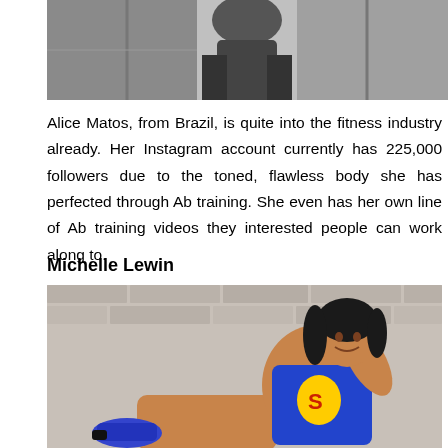[Figure (photo): Black and white photo of a person in a fitness/gym setting, cropped showing lower body]
Alice Matos, from Brazil, is quite into the fitness industry already. Her Instagram account currently has 225,000 followers due to the toned, flawless body she has perfected through Ab training. She even has her own line of Ab training videos they interested people can work along to.
Michelle Lewin
[Figure (photo): Color photo of a woman in a Superman-themed outfit sitting against a brick wall, wearing blue sneakers]